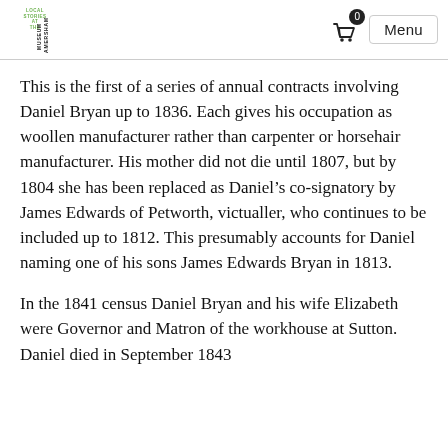Local Stories at the Amersham Museum | Menu
This is the first of a series of annual contracts involving Daniel Bryan up to 1836.  Each gives his occupation as woollen manufacturer rather than carpenter or horsehair manufacturer.  His mother did not die until 1807, but by 1804 she has been replaced as Daniel's co-signatory by James Edwards of Petworth, victualler, who continues to be included up to 1812.  This presumably accounts for Daniel naming one of his sons James Edwards Bryan in 1813.
In the 1841 census Daniel Bryan and his wife Elizabeth were Governor and Matron of the workhouse at Sutton.  Daniel died in September 1843...